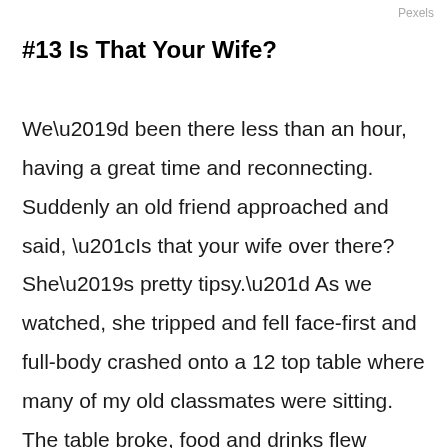Pexels
#13 Is That Your Wife?
We'd been there less than an hour, having a great time and reconnecting. Suddenly an old friend approached and said, “Is that your wife over there? She’s pretty tipsy.” As we watched, she tripped and fell face-first and full-body crashed onto a 12 top table where many of my old classmates were sitting. The table broke, food and drinks flew everywhere, I walked over, scooped